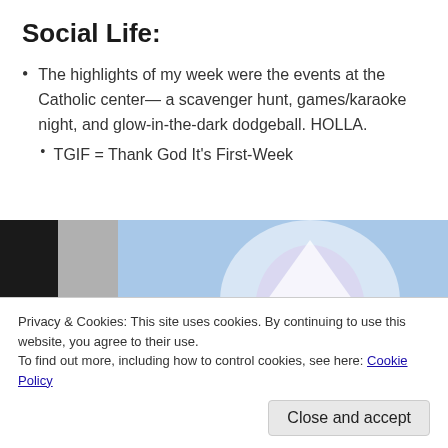Social Life:
The highlights of my week were the events at the Catholic center— a scavenger hunt, games/karaoke night, and glow-in-the-dark dodgeball. HOLLA.
TGIF = Thank God It's First-Week
[Figure (photo): A blurry photo showing a light source with a glowing shape (possibly a candle or glow-in-the-dark object) against a light blue background, with a dark section on the left side. A second darker image is partially visible at the bottom.]
Privacy & Cookies: This site uses cookies. By continuing to use this website, you agree to their use.
To find out more, including how to control cookies, see here: Cookie Policy
Close and accept